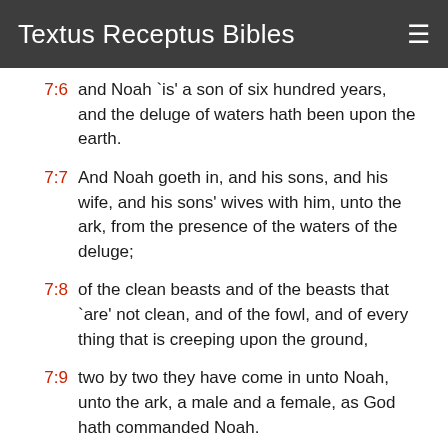Textus Receptus Bibles
7:6 and Noah `is' a son of six hundred years, and the deluge of waters hath been upon the earth.
7:7 And Noah goeth in, and his sons, and his wife, and his sons' wives with him, unto the ark, from the presence of the waters of the deluge;
7:8 of the clean beasts and of the beasts that `are' not clean, and of the fowl, and of every thing that is creeping upon the ground,
7:9 two by two they have come in unto Noah, unto the ark, a male and a female, as God hath commanded Noah.
7:10 And it cometh to pass, after the seventh of the days, that waters of the deluge have